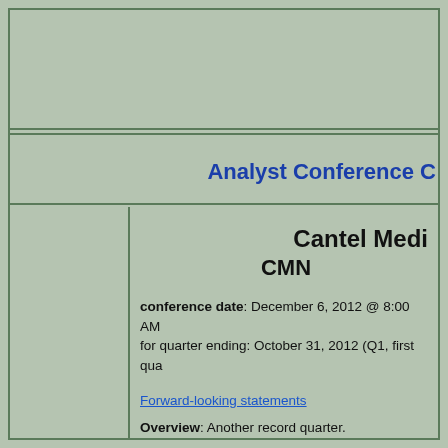Analyst Conference C
Cantel Medi CMN
conference date: December 6, 2012 @ 8:00 AM for quarter ending: October 31, 2012 (Q1, first qua
Forward-looking statements
Overview: Another record quarter.
Basic data (GAAP):